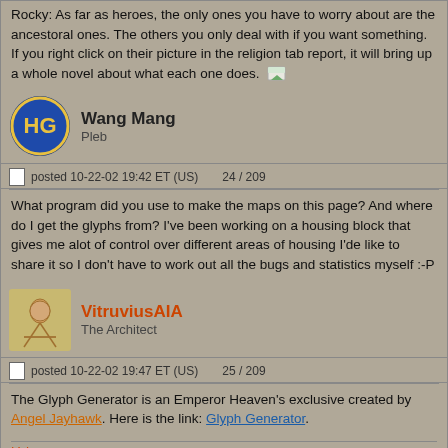Rocky: As far as heroes, the only ones you have to worry about are the ancestoral ones. The others you only deal with if you want something. If you right click on their picture in the religion tab report, it will bring up a whole novel about what each one does.
Wang Mang
Pleb
posted 10-22-02 19:42 ET (US)    24 / 209
What program did you use to make the maps on this page? And where do I get the glyphs from? I've been working on a housing block that gives me alot of control over different areas of housing I'de like to share it so I don't have to work out all the bugs and statistics myself :-P
VitruviusAIA
The Architect
posted 10-22-02 19:47 ET (US)    25 / 209
The Glyph Generator is an Emperor Heaven's exclusive created by Angel Jayhawk. Here is the link: Glyph Generator.
Vaia
« Previous Page  1 2 3 … 9  Next Page »
Caesar IV Heaven » Forums » Emperor: Game Help » The Official Housing Block Thread
Top